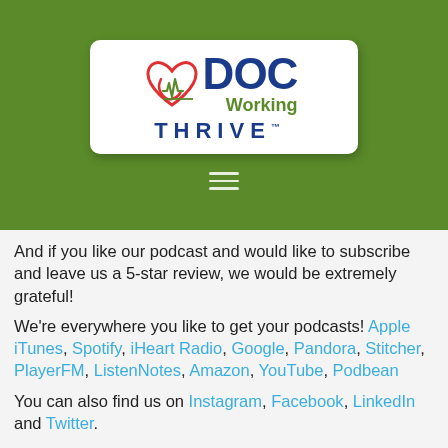[Figure (logo): Doc Working Thrive podcast logo: a heart with stethoscope shape in red, text DOC in dark blue, Working in green with a pulse/heartbeat line, THRIVE in blue capital letters below, on white rounded rectangle background]
And if you like our podcast and would like to subscribe and leave us a 5-star review, we would be extremely grateful!
We're everywhere you like to get your podcasts! Apple iTunes, Spotify, iHeart Radio, Google, Pandora, Stitcher, PlayerFM, ListenNotes, Amazon, YouTube, Podbean
You can also find us on Instagram, Facebook, LinkedIn and Twitter.